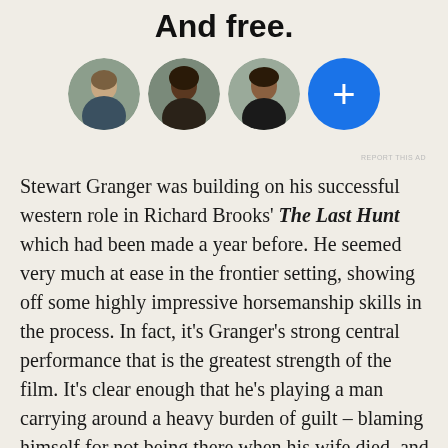And free.
[Figure (illustration): Three circular avatar photos of people (woman with light skin, woman with dark skin, man with medium-dark skin) followed by a blue circle with a plus sign, arranged in a horizontal row.]
REPORT THIS AD
Stewart Granger was building on his successful western role in Richard Brooks' The Last Hunt which had been made a year before. He seemed very much at ease in the frontier setting, showing off some highly impressive horsemanship skills in the process. In fact, it's Granger's strong central performance that is the greatest strength of the film. It's clear enough that he's playing a man carrying around a heavy burden of guilt – blaming himself for not being there when his wife died, and for failing to support his son during his formative years –